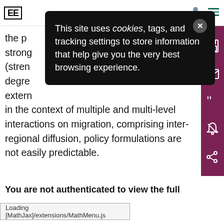[Figure (logo): EE publisher logo in bordered box]
This site uses cookies, tags, and tracking settings to store information that help give you the very best browsing experience.
the p strong (stren degre extern in the context of multiple and multi-level interactions on migration, comprising inter-regional diffusion, policy formulations are not easily predictable.
You are not authenticated to view the full
Loading [MathJax]/extensions/MathMenu.js